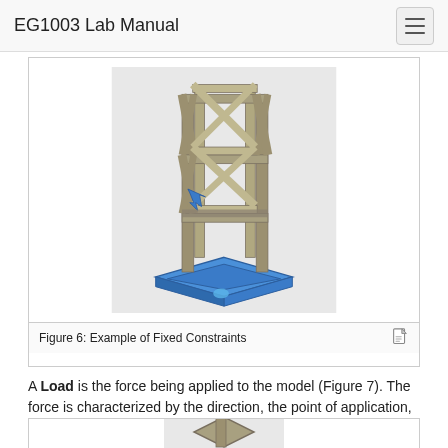EG1003 Lab Manual
[Figure (engineering-diagram): 3D CAD rendering of a truss tower structure with fixed constraints shown in blue at the base, and a blue load arrow indicator on the left side of the structure.]
Figure 6: Example of Fixed Constraints
A Load is the force being applied to the model (Figure 7). The force is characterized by the direction, the point of application, and the magnitude of the force being applied.
[Figure (engineering-diagram): Partial view of another 3D CAD truss structure, partially visible at the bottom of the page.]